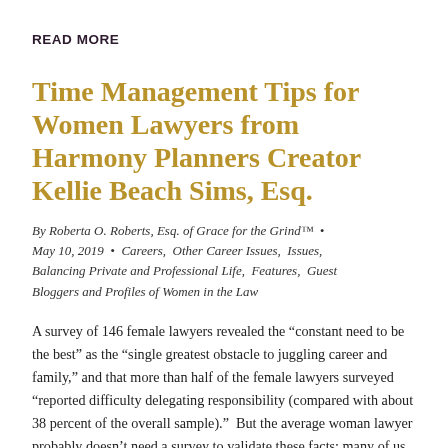READ MORE
Time Management Tips for Women Lawyers from Harmony Planners Creator Kellie Beach Sims, Esq.
By Roberta O. Roberts, Esq. of Grace for the Grind™  •  May 10, 2019  •  Careers,  Other Career Issues,  Issues,  Balancing Private and Professional Life,  Features,  Guest Bloggers and Profiles of Women in the Law
A survey of 146 female lawyers revealed the “constant need to be the best” as the “single greatest obstacle to juggling career and family,” and that more than half of the female lawyers surveyed “reported difficulty delegating responsibility (compared with about 38 percent of the overall sample).”  But the average woman lawyer probably doesn’t need a survey to validate these facts: many of us feel stressed getting it